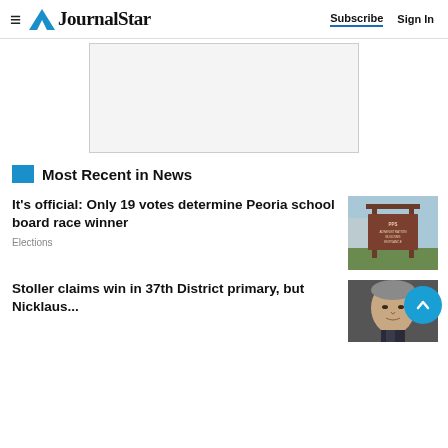≡ JournalStar  Subscribe  Sign In
[Figure (other): Advertisement placeholder box, light gray background with border]
Most Recent in News
It's official: Only 19 votes determine Peoria school board race winner
Elections
[Figure (photo): Photo of PPS Administration Building Entrance sign, a brown wooden sign with the Peoria Public Schools logo and text 'PPS ADMINISTRATION BUILDING ENTRANCE']
Stoller claims win in 37th District primary, but Nicklaus...
[Figure (photo): Photo of a man, close-up portrait, grey hair]